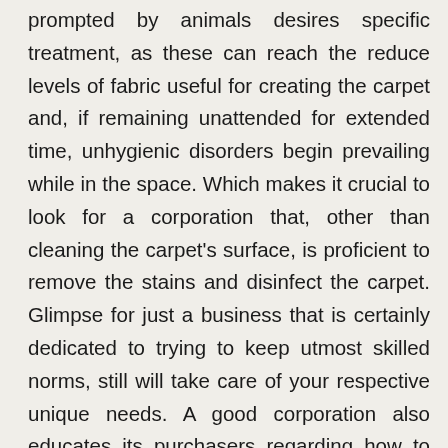prompted by animals desires specific treatment, as these can reach the reduce levels of fabric useful for creating the carpet and, if remaining unattended for extended time, unhygienic disorders begin prevailing while in the space. Which makes it crucial to look for a corporation that, other than cleaning the carpet's surface, is proficient to remove the stains and disinfect the carpet. Glimpse for just a business that is certainly dedicated to trying to keep utmost skilled norms, still will take care of your respective unique needs. A good corporation also educates its purchasers regarding how to lengthen the life of their carpets.
Today, it can be not likely tough to track down